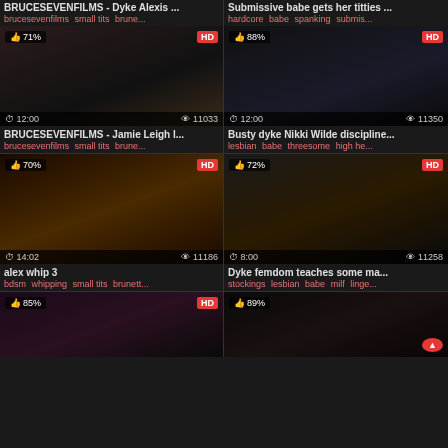[Figure (screenshot): Video thumbnail grid showing adult video website with 8 video cards in 2-column layout]
BRUCESEVENFILMS - Dyke Alexis ...
brucesevenfilms small tits brune...
Submissive babe gets her titties ...
hardcore babe spanking submis...
71% | HD | 12:00 | 11033 views
88% | HD | 12:00 | 11350 views
BRUCESEVENFILMS - Jamie Leigh l...
brucesevenfilms small tits brune...
Busty dyke Nikki Wilde discipline...
lesbian babe threesome high he...
70% | HD | 14:02 | 11186 views
72% | HD | 8:00 | 11258 views
alex whip 3
bdsm whipping small tits brunett...
Dyke femdom teaches some ma...
stockings lesbian babe milf linge...
85% | HD
89%